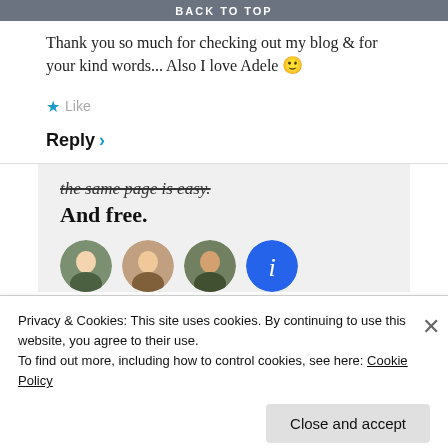BACK TO TOP
Thank you so much for checking out my blog & for your kind words... Also I love Adele 🙂
★ Like
Reply ›
[Figure (screenshot): Promotional banner with italic strikethrough text 'the same page is easy.' and bold text 'And free.' followed by circular avatar photos and a blue icon]
Privacy & Cookies: This site uses cookies. By continuing to use this website, you agree to their use.
To find out more, including how to control cookies, see here: Cookie Policy
Close and accept